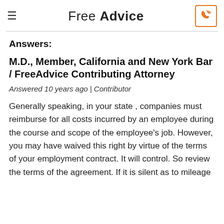Free Advice
Answers:
M.D., Member, California and New York Bar / FreeAdvice Contributing Attorney
Answered 10 years ago | Contributor
Generally speaking, in your state , companies must reimburse for all costs incurred by an employee during the course and scope of the employee's job. However, you may have waived this right by virtue of the terms of your employment contract. It will control. So review the terms of the agreement. If it is silent as to mileage